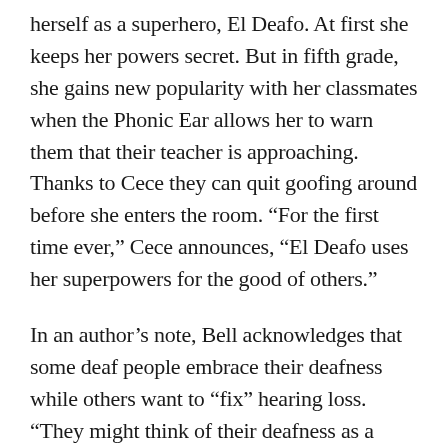herself as a superhero, El Deafo. At first she keeps her powers secret. But in fifth grade, she gains new popularity with her classmates when the Phonic Ear allows her to warn them that their teacher is approaching. Thanks to Cece they can quit goofing around before she enters the room. “For the first time ever,” Cece announces, “El Deafo uses her superpowers for the good of others.”
In an author’s note, Bell acknowledges that some deaf people embrace their deafness while others want to “fix” hearing loss. “They might think of their deafness as a difference, and they might, either secretly or openly, think of it as a disability, too.” That’s fair, and honest.